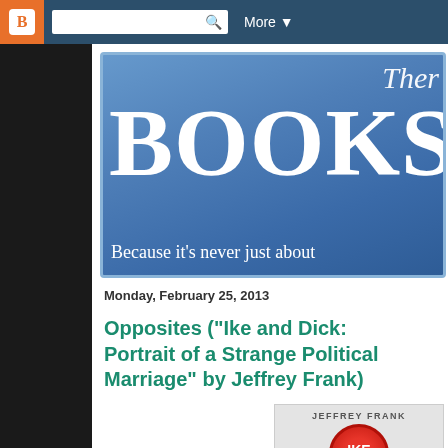[Figure (screenshot): Blogger top navigation bar with orange B logo, search field, and More dropdown on dark blue background]
[Figure (illustration): Blog header banner in blue with italic 'The' text partially visible, large 'BOOKS' title, and subtitle 'Because it's never just about']
Monday, February 25, 2013
Opposites ("Ike and Dick: Portrait of a Strange Political Marriage" by Jeffrey Frank)
[Figure (photo): Book cover showing 'JEFFREY FRANK' as author name and a red circular IKE campaign button]